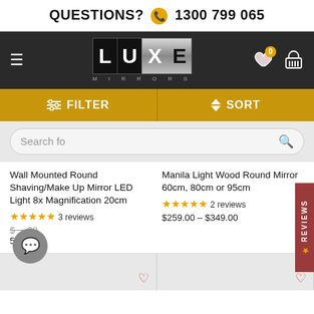QUESTIONS? 1300 799 065
[Figure (logo): LUXE MIRRORS logo on dark background with hamburger menu, heart icon with 0 badge, and shopping basket icon]
[Figure (screenshot): Filter and Sort bar in gold/amber color]
[Figure (screenshot): Search bar with 'Search fo' placeholder text and magnifying glass icon]
Wall Mounted Round Shaving/Make Up Mirror LED Light 8x Magnification 20cm
★★★★★ 3 reviews
$259.00 – $349.00
Manila Light Wood Round Mirror 60cm, 80cm or 95cm
★★★★★ 2 reviews
$259.00 – $349.00